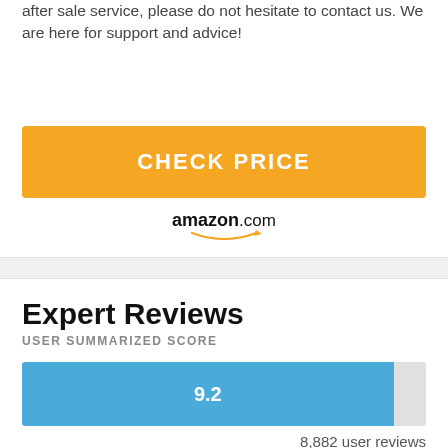after sale service, please do not hesitate to contact us. We are here for support and advice!
[Figure (other): Orange CHECK PRICE button with amazon.com logo below]
Expert Reviews
USER SUMMARIZED SCORE
[Figure (bar-chart): User Summarized Score]
8,882 user reviews